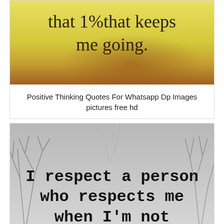[Figure (illustration): Yellow-orange gradient background with dark serif text reading 'that 1% that keeps me going.']
Positive Thinking Quotes For Whatsapp Dp Images pictures free hd
[Figure (illustration): Black and white photo of bare winter trees with black serif text reading 'I respect a person who respects me when I'm not']